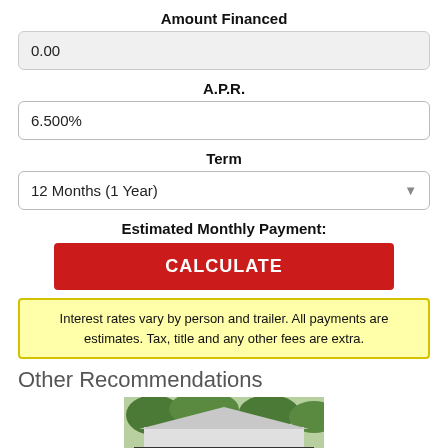Amount Financed
0.00
A.P.R.
6.500%
Term
12 Months (1 Year)
Estimated Monthly Payment:
CALCULATE
Interest rates vary by person and trailer. All payments are estimates. Tax, title and any other fees are extra.
Other Recommendations
[Figure (photo): Photo of a dark trailer/storage unit in front of a house with trees]